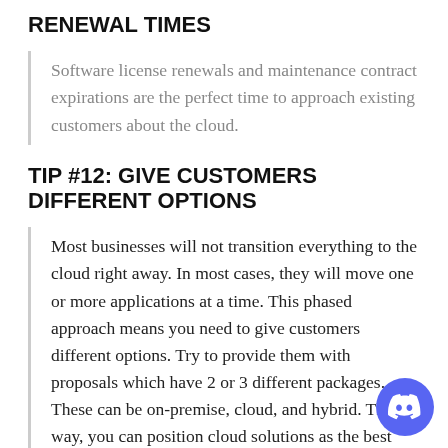RENEWAL TIMES
Software license renewals and maintenance contract expirations are the perfect time to approach existing customers about the cloud.
TIP #12: GIVE CUSTOMERS DIFFERENT OPTIONS
Most businesses will not transition everything to the cloud right away. In most cases, they will move one or more applications at a time. This phased approach means you need to give customers different options. Try to provide them with proposals which have 2 or 3 different packages. These can be on-premise, cloud, and hybrid. This way, you can position cloud solutions as the best deal